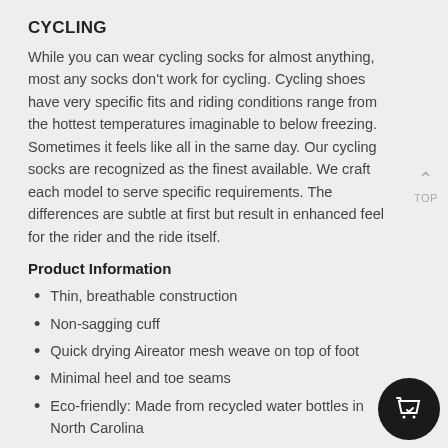CYCLING
While you can wear cycling socks for almost anything, most any socks don't work for cycling. Cycling shoes have very specific fits and riding conditions range from the hottest temperatures imaginable to below freezing. Sometimes it feels like all in the same day. Our cycling socks are recognized as the finest available. We craft each model to serve specific requirements. The differences are subtle at first but result in enhanced feel for the rider and the ride itself.
Product Information
Thin, breathable construction
Non-sagging cuff
Quick drying Aireator mesh weave on top of foot
Minimal heel and toe seams
Eco-friendly: Made from recycled water bottles in North Carolina